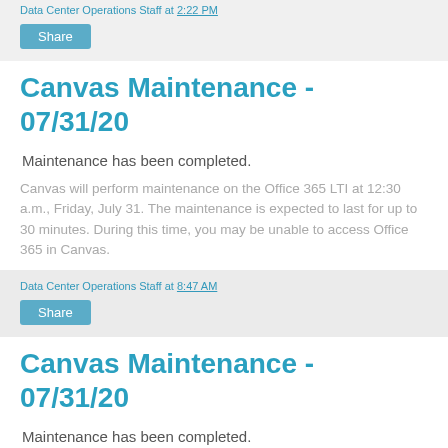Data Center Operations Staff at 2:22 PM
Share
Canvas Maintenance - 07/31/20
Maintenance has been completed.
Canvas will perform maintenance on the Office 365 LTI at  12:30 a.m., Friday, July 31. The maintenance is expected to last for up to 30 minutes. During this time, you may be unable to access Office 365 in Canvas.
Data Center Operations Staff at 8:47 AM
Share
Canvas Maintenance - 07/31/20
Maintenance has been completed.